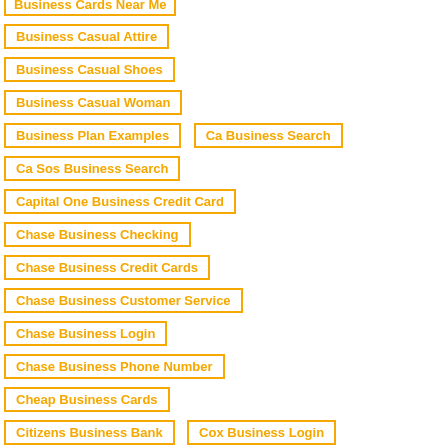Business Cards Near Me
Business Casual Attire
Business Casual Shoes
Business Casual Woman
Business Plan Examples
Ca Business Search
Ca Sos Business Search
Capital One Business Credit Card
Chase Business Checking
Chase Business Credit Cards
Chase Business Customer Service
Chase Business Login
Chase Business Phone Number
Cheap Business Cards
Citizens Business Bank
Cox Business Login
Digital Business Card
Facebook Business Suite
Finance In Business
Free Business Cards
Google Business Login